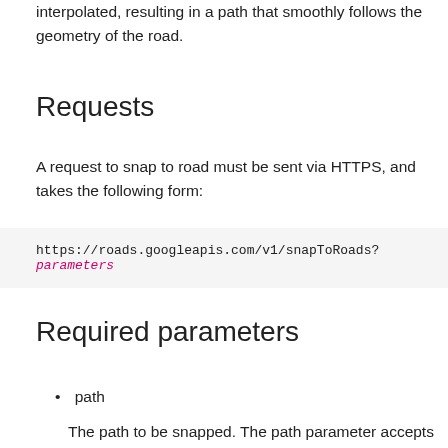interpolated, resulting in a path that smoothly follows the geometry of the road.
Requests
A request to snap to road must be sent via HTTPS, and takes the following form:
https://roads.googleapis.com/v1/snapToRoads?parameters
Required parameters
path
The path to be snapped. The path parameter accepts